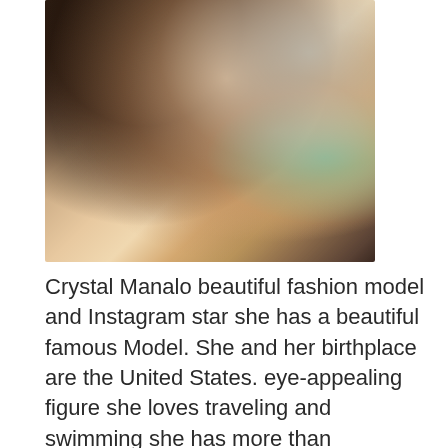[Figure (photo): A young woman with long dark hair smiling, wearing a white top, taking a selfie indoors]
Crystal Manalo beautiful fashion model and Instagram star she has a beautiful famous Model. She and her birthplace are the United States. eye-appealing figure she loves traveling and swimming she has more than Instagram she was born and raised in us the professional model and Instagram star she is the brand ambassador of fashion nova curve